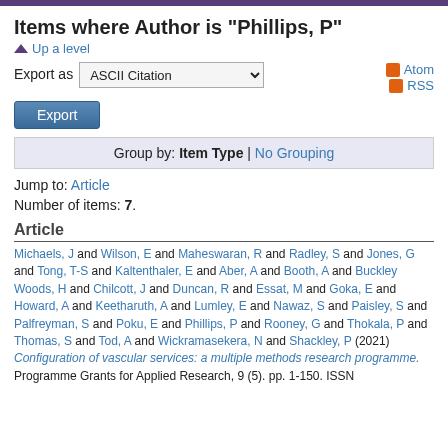Items where Author is "Phillips, P"
Up a level
Export as ASCII Citation
Atom RSS
Export
Group by: Item Type | No Grouping
Jump to: Article
Number of items: 7.
Article
Michaels, J and Wilson, E and Maheswaran, R and Radley, S and Jones, G and Tong, T-S and Kaltenthaler, E and Aber, A and Booth, A and Buckley Woods, H and Chilcott, J and Duncan, R and Essat, M and Goka, E and Howard, A and Keetharuth, A and Lumley, E and Nawaz, S and Paisley, S and Palfreyman, S and Poku, E and Phillips, P and Rooney, G and Thokala, P and Thomas, S and Tod, A and Wickramasekera, N and Shackley, P (2021) Configuration of vascular services: a multiple methods research programme. Programme Grants for Applied Research, 9 (5). pp. 1-150. ISSN